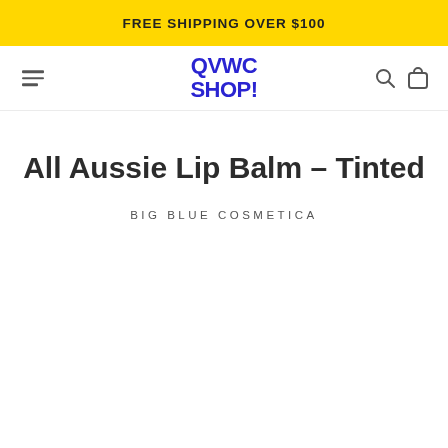FREE SHIPPING OVER $100
[Figure (logo): QVWC SHOP! logo in bold blue text]
All Aussie Lip Balm – Tinted
BIG BLUE COSMETICA